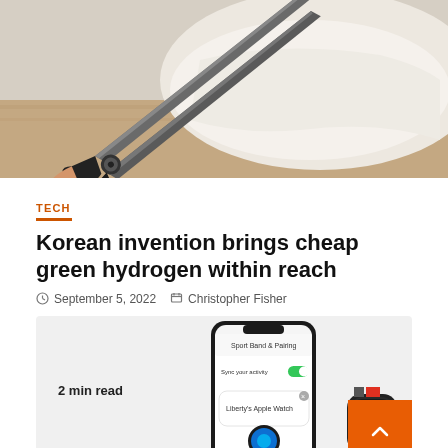[Figure (photo): Close-up photo of scissors cutting white fabric on a wooden surface]
TECH
Korean invention brings cheap green hydrogen within reach
September 5, 2022   Christopher Fisher
[Figure (screenshot): Preview box showing '2 min read' text alongside a smartphone screenshot displaying an Apple Watch pairing screen with 'Liberty's Apple Watch' label, and a partial Apple Watch device image]
[Figure (other): Orange scroll-to-top button with upward chevron arrow]